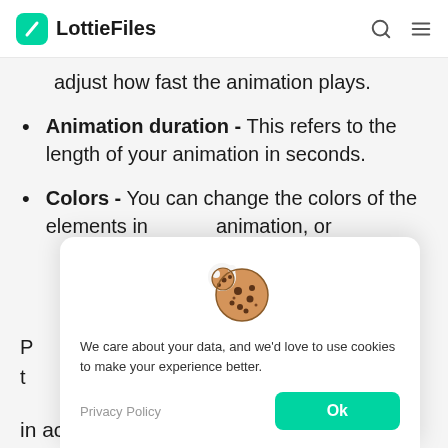LottieFiles
adjust how fast the animation plays.
Animation duration - This refers to the length of your animation in seconds.
Colors - You can change the colors of the elements in your animation, or
[Figure (illustration): Cookie consent modal with a cookie emoji icon, text 'We care about your data, and we’d love to use cookies to make your experience better.', a Privacy Policy link, and an Ok button.]
in action.